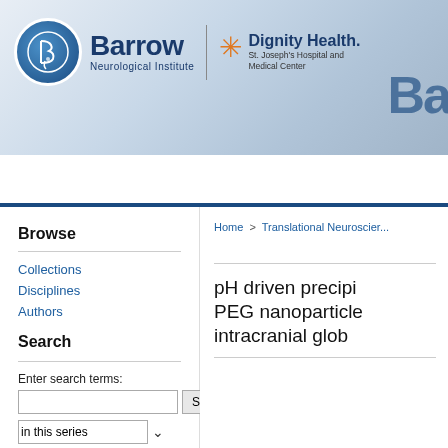[Figure (logo): Barrow Neurological Institute and Dignity Health St. Joseph's Hospital and Medical Center logos in a blue gradient banner header]
HOME   ABOUT   MY ACCOUNT
Browse
Collections
Disciplines
Authors
Search
Enter search terms:
in this series
Advanced Search
Home > Translational Neuroscier...
pH driven precipi... PEG nanoparticle... intracranial glob...